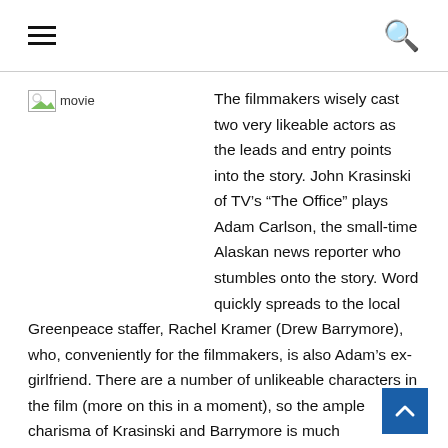☰ [menu icon] | [search icon]
[Figure (photo): Broken image placeholder labeled 'movie']
The filmmakers wisely cast two very likeable actors as the leads and entry points into the story. John Krasinski of TV's “The Office” plays Adam Carlson, the small-time Alaskan news reporter who stumbles onto the story. Word quickly spreads to the local Greenpeace staffer, Rachel Kramer (Drew Barrymore), who, conveniently for the filmmakers, is also Adam’s ex-girlfriend. There are a number of unlikeable characters in the film (more on this in a moment), so the ample charisma of Krasinski and Barrymore is much appreciated.